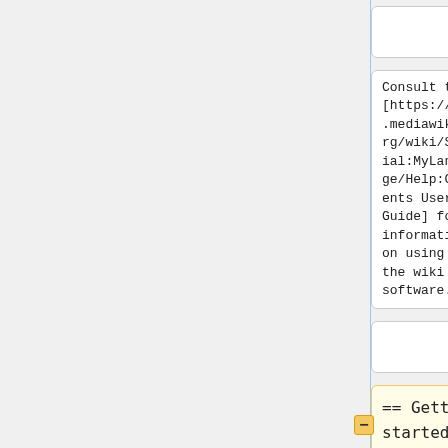[Figure (screenshot): Two-column comparison table showing wiki markup vs rendered output. Top row: empty cells. Second row: monospace text cells showing 'Consult the [https://www.mediawiki.org/wiki/Special:MyLanguage/Help:Contents User's Guide] for information on using the wiki software.' in both columns. Third row: empty cells. Fourth row: yellow-highlighted cell with '== Getting started ==' and blue-highlighted cell with '= Getting started ='. Fifth row (partial): cells starting with '* [https://www' in both columns.]